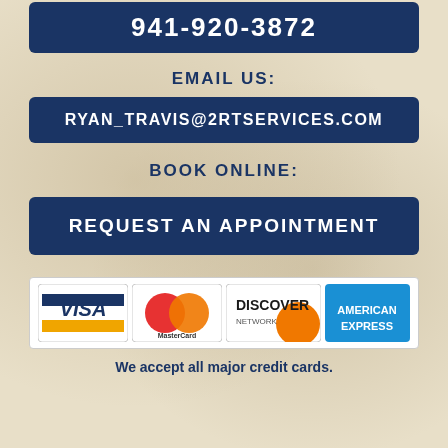941-920-3872
EMAIL US:
RYAN_TRAVIS@2RTSERVICES.COM
BOOK ONLINE:
REQUEST AN APPOINTMENT
[Figure (other): Payment method logos: Visa, MasterCard, Discover Network, American Express]
We accept all major credit cards.